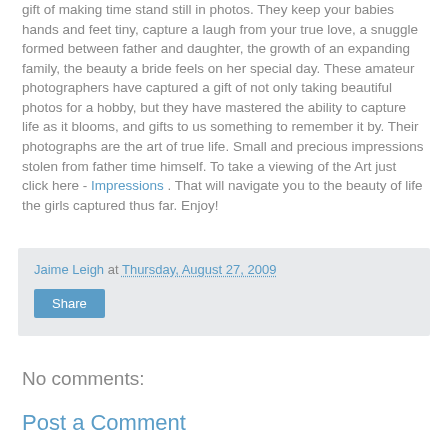gift of making time stand still in photos. They keep your babies hands and feet tiny, capture a laugh from your true love, a snuggle formed between father and daughter, the growth of an expanding family, the beauty a bride feels on her special day. These amateur photographers have captured a gift of not only taking beautiful photos for a hobby, but they have mastered the ability to capture life as it blooms, and gifts to us something to remember it by. Their photographs are the art of true life. Small and precious impressions stolen from father time himself. To take a viewing of the Art just click here - Impressions . That will navigate you to the beauty of life the girls captured thus far. Enjoy!
Jaime Leigh at Thursday, August 27, 2009
Share
No comments:
Post a Comment